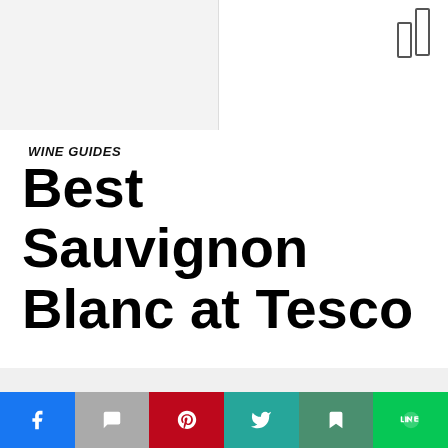WINE GUIDES
Best Sauvignon Blanc at Tesco
[Figure (other): Gray image/content area below the title]
Social sharing bar: Facebook, WhatsApp, Pinterest, Twitter, Bookmark, LINE